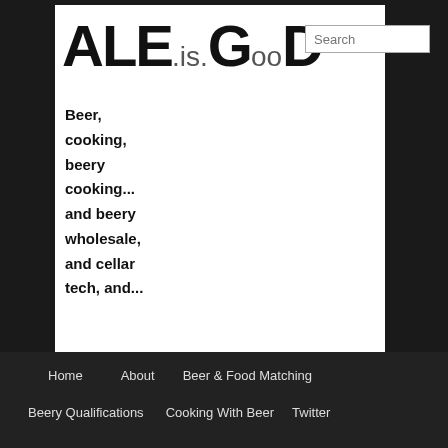ALE.is.GooD
Beer, cooking, beery cooking... and beery wholesale, and cellar tech, and...
Home  About  Beer & Food Matching  Beery Qualifications  Cooking With Beer  Twitter
TAG ARCHIVES: ALVINNE
A Beery Christmas
Posted on January 13, 2011